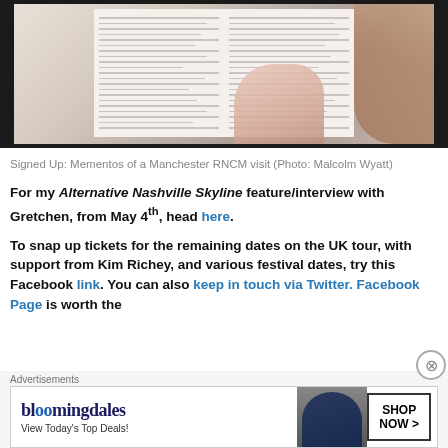[Figure (photo): A person reading an open book with text columns visible on both pages, hand touching the book, partial view of person with long hair on right side.]
Signed Up: Mementos of a Manchester RNCM visit (Photo: Malcolm Wyatt)
For my Alternative Nashville Skyline feature/interview with Gretchen, from May 4th, head here.
To snap up tickets for the remaining dates on the UK tour, with support from Kim Richey, and various festival dates, try this Facebook link. You can also keep in touch via Twitter. Facebook Page is worth the...